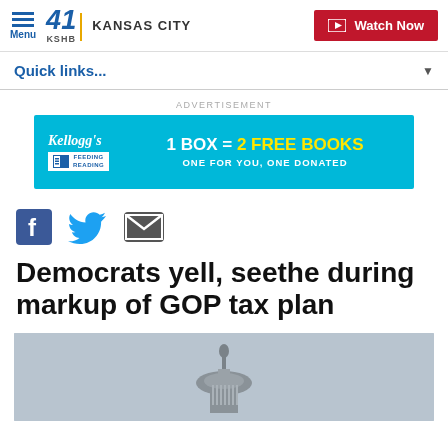Menu | 41 KSHB KANSAS CITY | Watch Now
Quick links...
[Figure (other): Kellogg's Feeding Reading advertisement banner: 1 BOX = 2 FREE BOOKS, ONE FOR YOU, ONE DONATED]
[Figure (other): Social share icons: Facebook, Twitter, Email]
Democrats yell, seethe during markup of GOP tax plan
[Figure (photo): Photo of the US Capitol building dome against a grey sky]